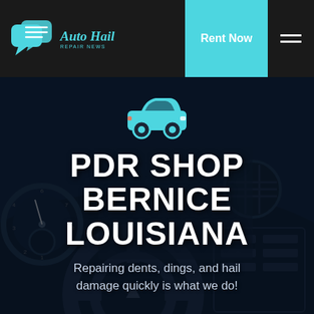[Figure (logo): Auto Hail Repair News logo with teal speech bubble icons and italic teal text]
Rent Now
[Figure (illustration): Teal car icon (top view/side silhouette)]
[Figure (photo): Dark car interior dashboard and steering wheel background photo]
PDR SHOP BERNICE LOUISIANA
Repairing dents, dings, and hail damage quickly is what we do!